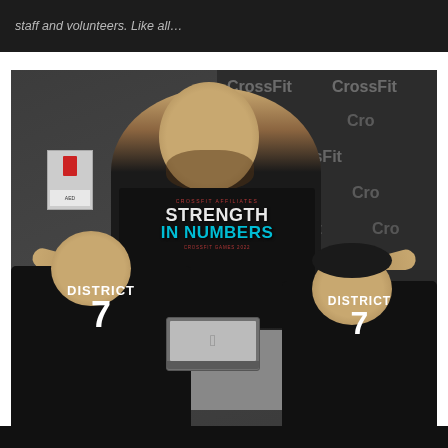staff and volunteers. Like all…
[Figure (photo): A man wearing a black 'Strength in Numbers' CrossFit t-shirt stands in front of a CrossFit branded banner, gesturing with his arms outstretched to an audience of two people wearing black 'District 7' shirts, who are seated with their backs to the camera. A laptop is open on a table in the foreground. An AED box is mounted on the wall in the background.]